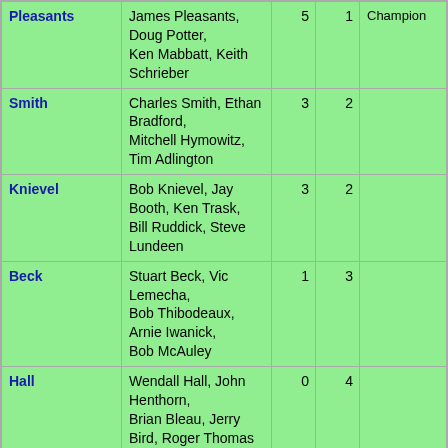| Team | Members | W | L | Notes |
| --- | --- | --- | --- | --- |
| Pleasants | James Pleasants, Doug Potter, Ken Mabbatt, Keith Schrieber | 5 | 1 | Champion |
| Smith | Charles Smith, Ethan Bradford, Mitchell Hymowitz, Tim Adlington | 3 | 2 |  |
| Knievel | Bob Knievel, Jay Booth, Ken Trask, Bill Ruddick, Steve Lundeen | 3 | 2 |  |
| Beck | Stuart Beck, Vic Lemecha, Bob Thibodeaux, Arnie Iwanick, Bob McAuley | 1 | 3 |  |
| Hall | Wendall Hall, John Henthorn, Brian Bleau, Jerry Bird, Roger Thomas | 0 | 4 |  |
Learn
Curling Basics
Equipment
History
Strategy
Rules
Scoreboards